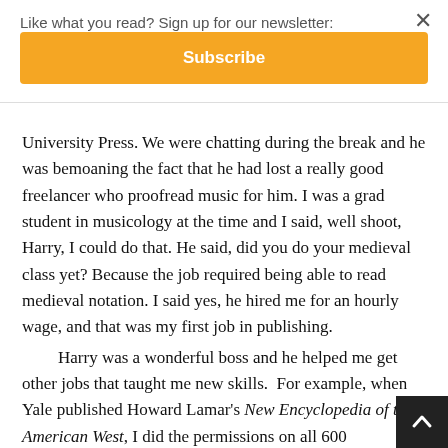Like what you read? Sign up for our newsletter:
Subscribe
University Press. We were chatting during the break and he was bemoaning the fact that he had lost a really good freelancer who proofread music for him. I was a grad student in musicology at the time and I said, well shoot, Harry, I could do that. He said, did you do your medieval class yet? Because the job required being able to read medieval notation. I said yes, he hired me for an hourly wage, and that was my first job in publishing.

Harry was a wonderful boss and he helped me get other jobs that taught me new skills. For example, when Yale published Howard Lamar's New Encyclopedia of the American West, I did the permissions on all 600 illustrations.

I was still at Yale trying to finish my degree when one morning I got on my bike and rode through horrid cold